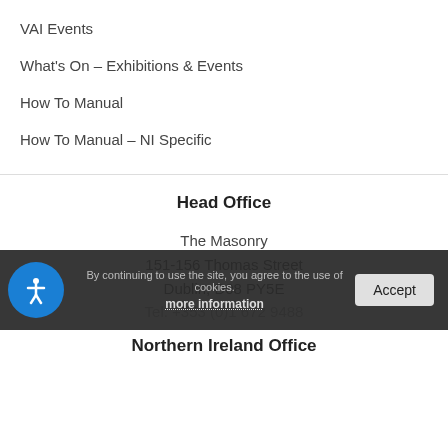VAI Events
What's On – Exhibitions & Events
How To Manual
How To Manual – NI Specific
Head Office
The Masonry
151-156 Thomas Street
Dublin, D08 PY5E
Tel: +353 (0)1 672 9488
By continuing to use the site, you agree to the use of cookies. more information | Accept
Northern Ireland Office